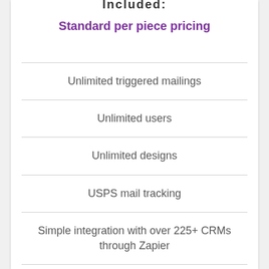Standard per piece pricing
Unlimited triggered mailings
Unlimited users
Unlimited designs
USPS mail tracking
Simple integration with over 225+ CRMs through Zapier